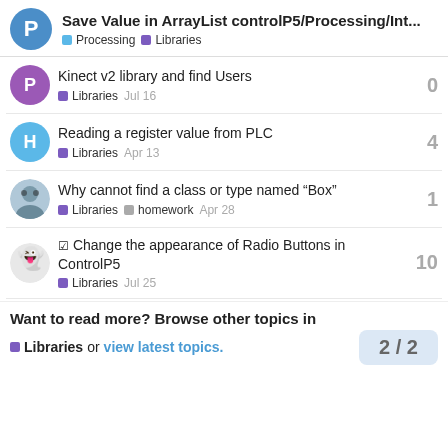Save Value in ArrayList controlP5/Processing/Int...
Kinect v2 library and find Users — Libraries — 0 — Jul 16
Reading a register value from PLC — Libraries — 4 — Apr 13
Why cannot find a class or type named "Box" — Libraries, homework — 1 — Apr 28
✓ Change the appearance of Radio Buttons in ControlP5 — Libraries — 10 — Jul 25
Want to read more? Browse other topics in Libraries or view latest topics. 2 / 2